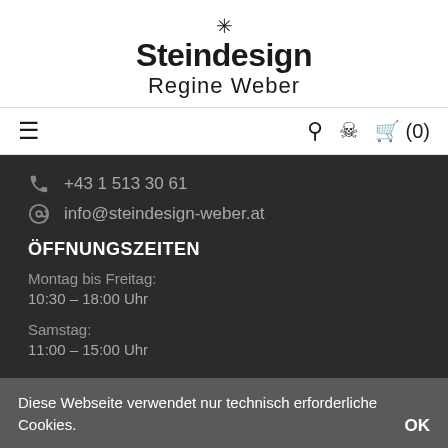Steindesign Regine Weber
+43 1 513 30 61
info@steindesign-weber.at
ÖFFNUNGSZEITEN
Montag bis Freitag:
10:30 – 18:00 Uhr
Samstag:
11:00 – 15:00 Uhr
Diese Webseite verwendet nur technisch erforderliche Cookies.